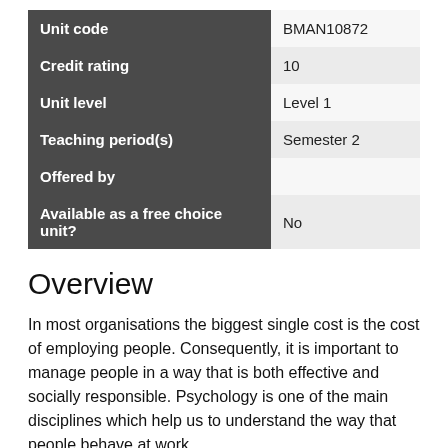|  |  |
| --- | --- |
| Unit code | BMAN10872 |
| Credit rating | 10 |
| Unit level | Level 1 |
| Teaching period(s) | Semester 2 |
| Offered by |  |
| Available as a free choice unit? | No |
Overview
In most organisations the biggest single cost is the cost of employing people. Consequently, it is important to manage people in a way that is both effective and socially responsible. Psychology is one of the main disciplines which help us to understand the way that people behave at work.